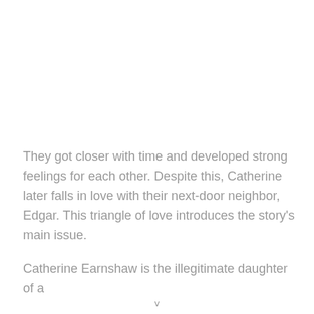They got closer with time and developed strong feelings for each other. Despite this, Catherine later falls in love with their next-door neighbor, Edgar. This triangle of love introduces the story's main issue.
Catherine Earnshaw is the illegitimate daughter of a
v